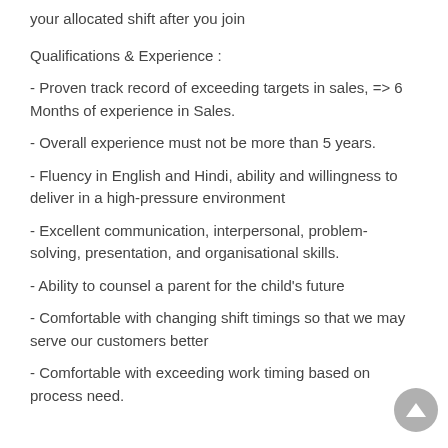your allocated shift after you join
Qualifications & Experience :
- Proven track record of exceeding targets in sales, => 6 Months of experience in Sales.
- Overall experience must not be more than 5 years.
- Fluency in English and Hindi, ability and willingness to deliver in a high-pressure environment
- Excellent communication, interpersonal, problem-solving, presentation, and organisational skills.
- Ability to counsel a parent for the child's future
- Comfortable with changing shift timings so that we may serve our customers better
- Comfortable with exceeding work timing based on process need.